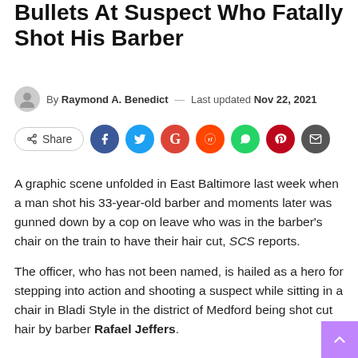Bullets At Suspect Who Fatally Shot His Barber
By Raymond A. Benedict — Last updated Nov 22, 2021
[Figure (other): Social share buttons: Share, Facebook, Twitter, Google, Reddit, WhatsApp, Pinterest, Email]
A graphic scene unfolded in East Baltimore last week when a man shot his 33-year-old barber and moments later was gunned down by a cop on leave who was in the barber's chair on the train to have their hair cut, SCS reports.
The officer, who has not been named, is hailed as a hero for stepping into action and shooting a suspect while sitting in a chair in Bladi Style in the district of Medford being shot cut hair by barber Rafael Jeffers.